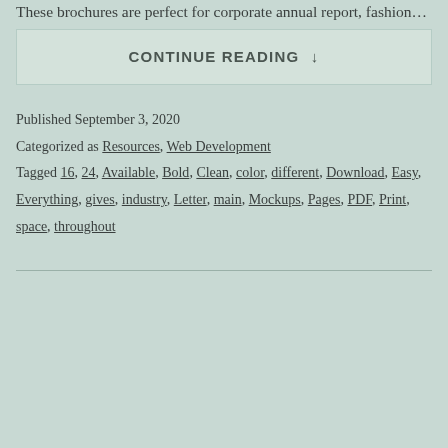These brochures are perfect for corporate annual report, fashion…
CONTINUE READING ↓
Published September 3, 2020
Categorized as Resources, Web Development
Tagged 16, 24, Available, Bold, Clean, color, different, Download, Easy, Everything, gives, industry, Letter, main, Mockups, Pages, PDF, Print, space, throughout